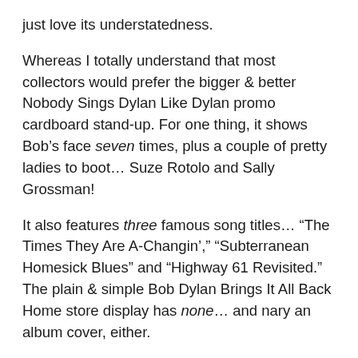just love its understatedness.
Whereas I totally understand that most collectors would prefer the bigger & better Nobody Sings Dylan Like Dylan promo cardboard stand-up. For one thing, it shows Bob’s face seven times, plus a couple of pretty ladies to boot… Suze Rotolo and Sally Grossman!
It also features three famous song titles… “The Times They Are A-Changin’,” “Subterranean Homesick Blues” and “Highway 61 Revisited.” The plain & simple Bob Dylan Brings It All Back Home store display has none… and nary an album cover, either.
So why do I like it better? Because it’s earlier and more innocent, more naïve. It’s clear that within the year of 1965, Columbia’s marketing department was growing